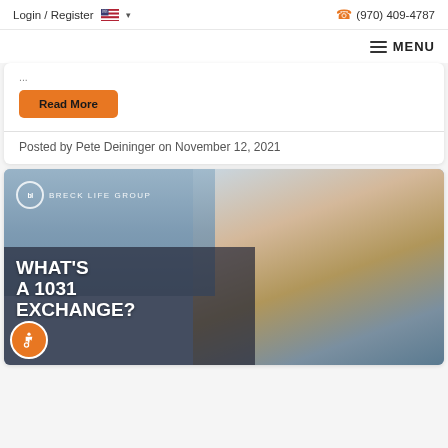Login / Register  (970) 409-4787
MENU
Read More
Posted by Pete Deininger on November 12, 2021
[Figure (photo): Breck Life Group thumbnail image showing a man with gray hair smiling, with text overlay reading 'WHAT'S A 1031 EXCHANGE?' and the Breck Life Group logo]